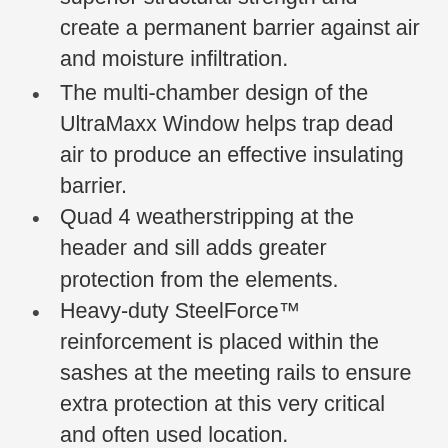Fusion-welded frame and sashes provide superior structural strength and create a permanent barrier against air and moisture infiltration.
The multi-chamber design of the UltraMaxx Window helps trap dead air to produce an effective insulating barrier.
Quad 4 weatherstripping at the header and sill adds greater protection from the elements.
Heavy-duty SteelForce™ reinforcement is placed within the sashes at the meeting rails to ensure extra protection at this very critical and often used location.
The Intercept Spacer System helps reduce conducted heat loss through the window and is better at retaining insulating gas than many conventional designs.
Triple-barrier weatherstripping between the sashes and...